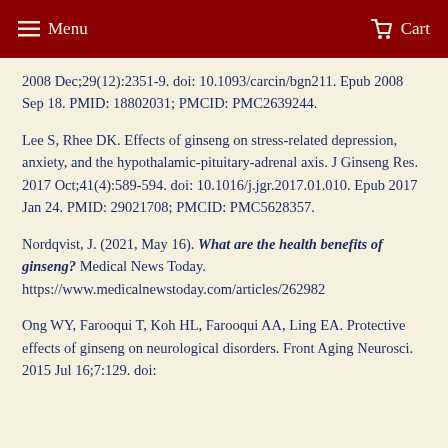Menu   Cart
2008 Dec;29(12):2351-9. doi: 10.1093/carcin/bgn211. Epub 2008 Sep 18. PMID: 18802031; PMCID: PMC2639244.
Lee S, Rhee DK. Effects of ginseng on stress-related depression, anxiety, and the hypothalamic-pituitary-adrenal axis. J Ginseng Res. 2017 Oct;41(4):589-594. doi: 10.1016/j.jgr.2017.01.010. Epub 2017 Jan 24. PMID: 29021708; PMCID: PMC5628357.
Nordqvist, J. (2021, May 16). What are the health benefits of ginseng? Medical News Today. https://www.medicalnewstoday.com/articles/262982
Ong WY, Farooqui T, Koh HL, Farooqui AA, Ling EA. Protective effects of ginseng on neurological disorders. Front Aging Neurosci. 2015 Jul 16;7:129. doi: